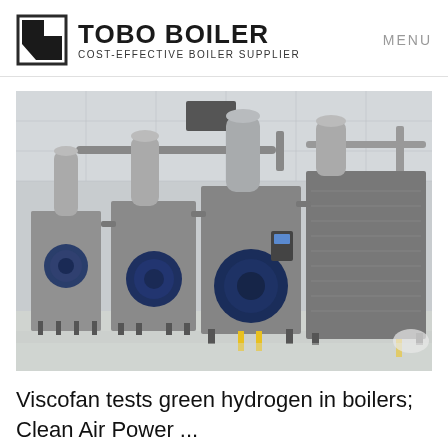TOBO BOILER — COST-EFFECTIVE BOILER SUPPLIER | MENU
[Figure (photo): Industrial boiler room showing three large gas-fired steam boilers with blue burners and cylindrical silver exhaust stacks, installed in a clean white facility with piping overhead.]
Viscofan tests green hydrogen in boilers; Clean Air Power ...